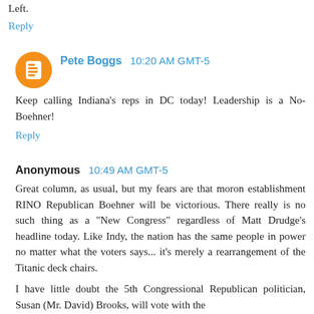Left.
Reply
Pete Boggs  10:20 AM GMT-5
Keep calling Indiana's reps in DC today! Leadership is a No-Boehner!
Reply
Anonymous  10:49 AM GMT-5
Great column, as usual, but my fears are that moron establishment RINO Republican Boehner will be victorious. There really is no such thing as a "New Congress" regardless of Matt Drudge's headline today. Like Indy, the nation has the same people in power no matter what the voters says... it's merely a rearrangement of the Titanic deck chairs.
I have little doubt the 5th Congressional Republican politician, Susan (Mr. David) Brooks, will vote with the